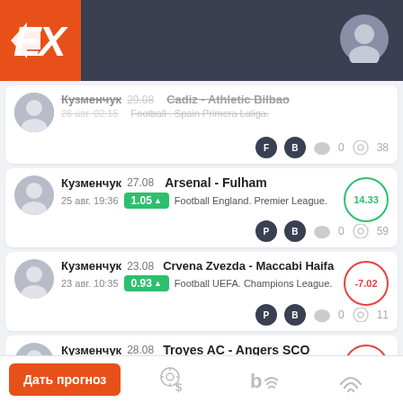[Figure (screenshot): Sports betting app header with orange EX logo and user avatar]
Кузменчук 29.08 Cadiz - Athletic Bilbao
26 авг. 02:15 Football . Spain Primera Laliga.
0 38
Кузменчук 27.08 Arsenal - Fulham
25 авг. 19:36 1.05 Football England. Premier League.
0 59
14.33
Кузменчук 23.08 Crvena Zvezda - Maccabi Haifa
23 авг. 10:35 0.93 Football UEFA. Champions League.
0 11
-7.02
Кузменчук 28.08 Troyes AC - Angers SCO
-1.40
Дать прогноз